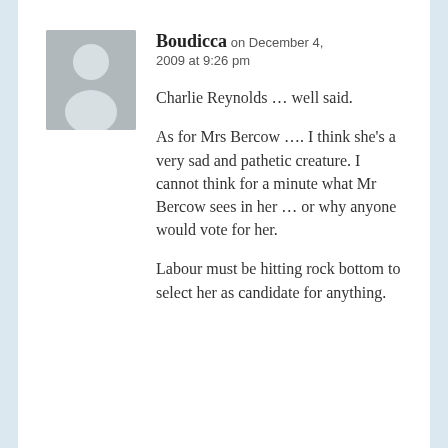[Figure (illustration): Grey placeholder avatar showing a silhouette of a person (head and shoulders) on a grey background]
Boudicca on December 4, 2009 at 9:26 pm
Charlie Reynolds … well said.

As for Mrs Bercow …. I think she's a very sad and pathetic creature. I cannot think for a minute what Mr Bercow sees in her … or why anyone would vote for her.

Labour must be hitting rock bottom to select her as candidate for anything.